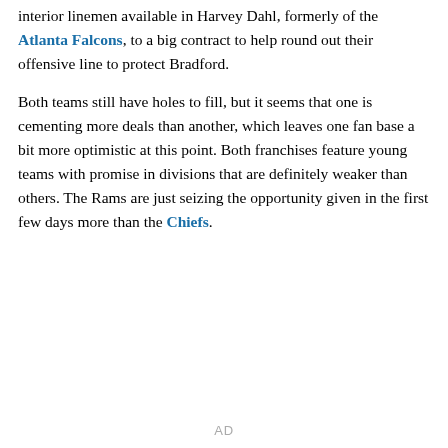day. In addition, the Rams also signed one of the top interior linemen available in Harvey Dahl, formerly of the Atlanta Falcons, to a big contract to help round out their offensive line to protect Bradford.
Both teams still have holes to fill, but it seems that one is cementing more deals than another, which leaves one fan base a bit more optimistic at this point. Both franchises feature young teams with promise in divisions that are definitely weaker than others. The Rams are just seizing the opportunity given in the first few days more than the Chiefs.
AD